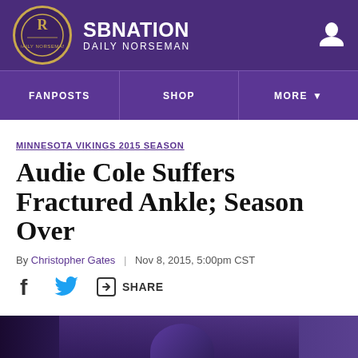SB NATION / DAILY NORSEMAN
FANPOSTS | SHOP | MORE
MINNESOTA VIKINGS 2015 SEASON
Audie Cole Suffers Fractured Ankle; Season Over
By Christopher Gates | Nov 8, 2015, 5:00pm CST
SHARE
[Figure (photo): Minnesota Vikings player in purple helmet and uniform celebrating on field]